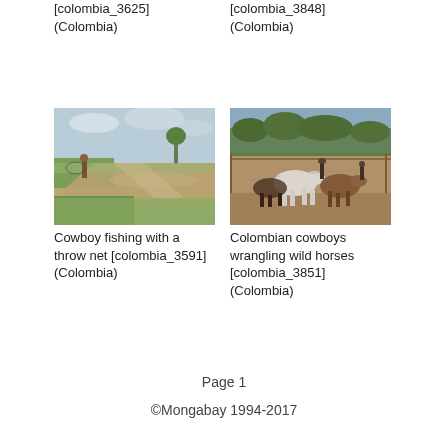[colombia_3625]
(Colombia)
[colombia_3848]
(Colombia)
[Figure (photo): Cowboy fishing with a throw net in a flooded field in Colombia]
Cowboy fishing with a throw net [colombia_3591] (Colombia)
[Figure (photo): Colombian cowboys wrangling wild horses in a dusty pen]
Colombian cowboys wrangling wild horses [colombia_3851] (Colombia)
Page 1
©Mongabay 1994-2017